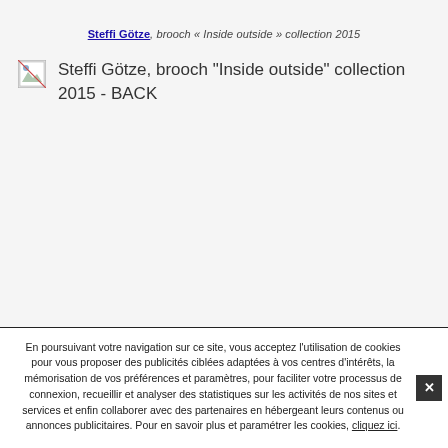Steffi Götze, brooch « Inside outside » collection 2015
[Figure (photo): Broken image placeholder for: Steffi Götze, brooch "Inside outside" collection 2015 - BACK]
En poursuivant votre navigation sur ce site, vous acceptez l'utilisation de cookies pour vous proposer des publicités ciblées adaptées à vos centres d'intérêts, la mémorisation de vos préférences et paramètres, pour faciliter votre processus de connexion, recueillir et analyser des statistiques sur les activités de nos sites et services et enfin collaborer avec des partenaires en hébergeant leurs contenus ou annonces publicitaires. Pour en savoir plus et paramétrer les cookies, cliquez ici.